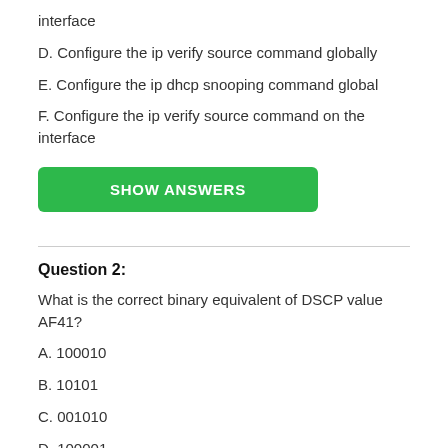interface
D. Configure the ip verify source command globally
E. Configure the ip dhcp snooping command global
F. Configure the ip verify source command on the interface
SHOW ANSWERS
Question 2:
What is the correct binary equivalent of DSCP value AF41?
A. 100010
B. 10101
C. 001010
D. 100001
SHOW ANSWERS